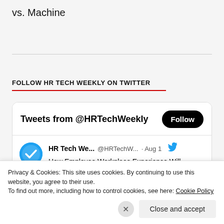vs. Machine
FOLLOW HR TECH WEEKLY ON TWITTER
[Figure (screenshot): Twitter widget showing 'Tweets from @HRTechWeekly' with a Follow button and a tweet from HR Tech We... @HRTechW... · Aug 1 about 'How Employee Workplace Experience Will Determine Office Engagement' with link hrtechweekly.com/2022/08/01/how...]
Privacy & Cookies: This site uses cookies. By continuing to use this website, you agree to their use.
To find out more, including how to control cookies, see here: Cookie Policy